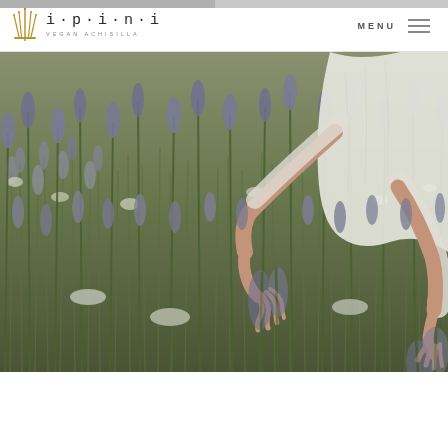ipini VEGAN ACHISILLA — MENU
[Figure (photo): Person wearing white linen clothing reaching both hands into a field of lavender plants in bloom, with purple flowers and green stems filling the frame. Close-up shot with soft natural light.]